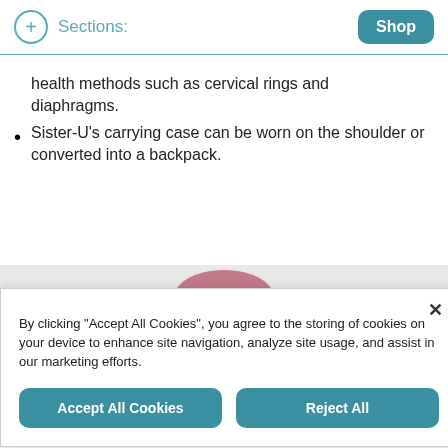Sections: Shop
health methods such as cervical rings and diaphragms.
Sister-U's carrying case can be worn on the shoulder or converted into a backpack.
[Figure (photo): Partial view of a pink rounded object on a grey background]
By clicking "Accept All Cookies", you agree to the storing of cookies on your device to enhance site navigation, analyze site usage, and assist in our marketing efforts.
Accept All Cookies  Reject All